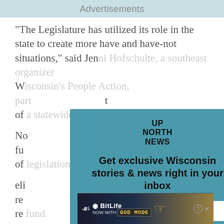Advertisements
“The Legislature has utilized its role in the state to create more have and have-not situations,” said Jenni Hofschulte, a southeast organizer with Wisconsin's People Action, part of...
No... en fu... st of... eli... re... d re... ho...
[Figure (screenshot): Modal popup overlay with teal background. Shows 'UP NORTH NEWS' logo stacked, headline 'Get exclusive Wisconsin stories & news right in your inbox', email input field with placeholder 'Email Address', and black 'SIGN ME UP' button. X close button in top right corner.]
are already paying tuition at private schools to receive public dollars for their child's private scho... educ... e.
[Figure (screenshot): BitLife advertisement banner at the bottom: 'BitLife NOW WITH GOD MODE' with decorative arrow graphics on both sides. Has a close X button and a ? help circle.]